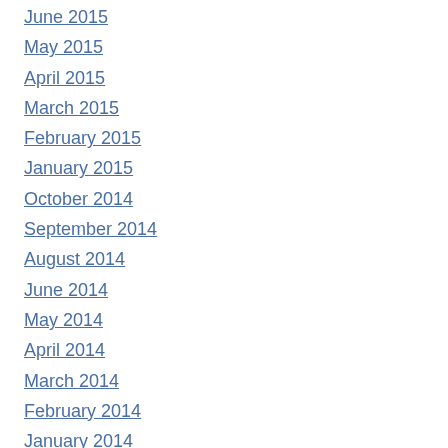June 2015
May 2015
April 2015
March 2015
February 2015
January 2015
October 2014
September 2014
August 2014
June 2014
May 2014
April 2014
March 2014
February 2014
January 2014
December 2013
November 2013
October 2013
September 2013